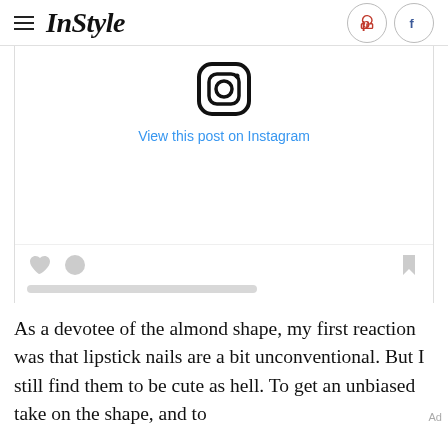InStyle
[Figure (screenshot): Instagram embed showing Instagram logo icon at top, 'View this post on Instagram' link in blue, empty post area, heart and comment icons at bottom left, bookmark icon at bottom right, and a gray placeholder bar]
As a devotee of the almond shape, my first reaction was that lipstick nails are a bit unconventional. But I still find them to be cute as hell. To get an unbiased take on the shape, and to